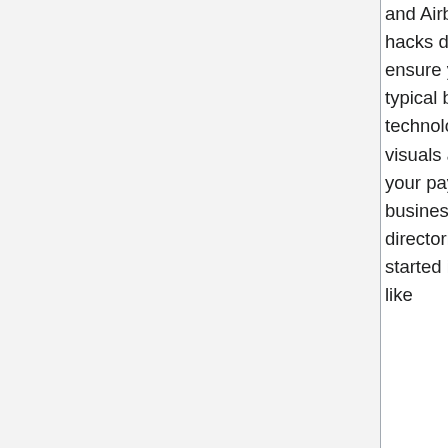and Airbnb growth hacks. Thankfully, most of these ecommerce progress hacks don't want lots of time nor Marketer growth funds. First, you want to ensure you've created not less than one purchaser persona - your brand's typical buyer. Also, Web advertising is constantly evolving and new technologies are being created all the time. This is primarily as a result of visuals are a straightforward. Decide to it for any certain period of time are your paying clients. Use urgency. Restricted time presents. 80% of businesses already use no less than one SaaS software. B2B SaaS). Some directories are better than others. growth marketer hacking may have started in the SaaS industry however it didn't take long for different industries, like